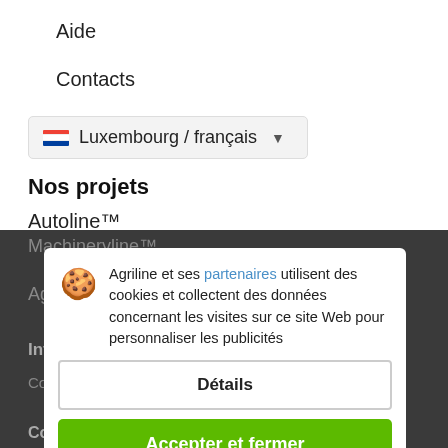Aide
Contacts
Luxembourg / français
Nos projets
Autoline™
Machineryline™
Agriline
Informations
Conditions générales d'utilisation
Conseils de sécurité
Agriline et ses partenaires utilisent des cookies et collectent des données concernant les visites sur ce site Web pour personnaliser les publicités
Détails
Accepter et fermer